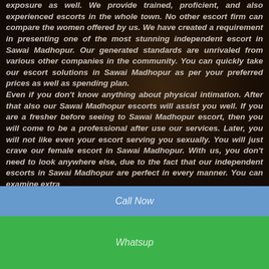exposure as well. We provide trained, proficient, and also experienced escorts in the whole town. No other escort firm can compare the women offered by us. We have created a requirement in presenting one of the most stunning independent escort in Sawai Madhopur. Our generated standards are unrivaled from various other companies in the community. You can quickly take our escort solutions in Sawai Madhopur as per your preferred prices as well as spending plan. Even if you don't know anything about physical intimation. After that also our Sawai Madhopur escorts will assist you well. If you are a fresher before seeing to Sawai Madhopur escort, then you will come to be a professional after use our services. Later, you will not like even your escort serving you sexually. You will just crave our female escort in Sawai Madhopur. With us, you don't need to look anywhere else, due to the fact that our independent escorts in Sawai Madhopur are perfect in every manner. You can examine extra...
Call Now
Whatsup